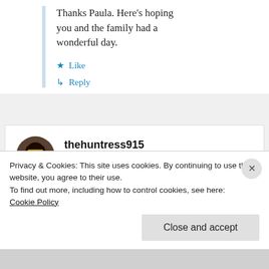Thanks Paula. Here's hoping you and the family had a wonderful day.
★ Like
↳ Reply
thehuntress915
February 14, 2019 at 3:00 pm
Privacy & Cookies: This site uses cookies. By continuing to use this website, you agree to their use.
To find out more, including how to control cookies, see here:
Cookie Policy
Close and accept